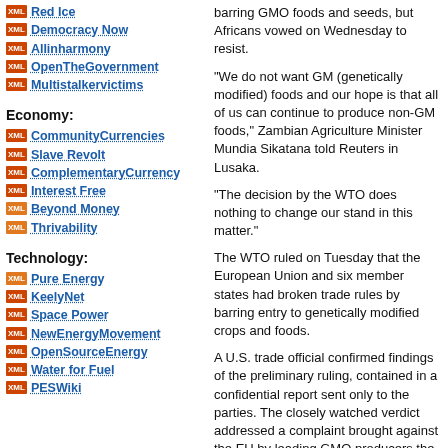Red Ice
Democracy Now
Allinharmony
OpenTheGovernment
Multistalkervictims
Economy:
CommunityCurrencies
Slave Revolt
ComplementaryCurrency
Interest Free
Beyond Money
Thrivability
Technology:
Pure Energy
KeelyNet
Space Power
NewEnergyMovement
OpenSourceEnergy
Water for Fuel
PESWiki
barring GMO foods and seeds, but Africans vowed on Wednesday to resist.
"We do not want GM (genetically modified) foods and our hope is that all of us can continue to produce non-GM foods," Zambian Agriculture Minister Mundia Sikatana told Reuters in Lusaka.
"The decision by the WTO does nothing to change our stand in this matter."
The WTO ruled on Tuesday that the European Union and six member states had broken trade rules by barring entry to genetically modified crops and foods.
A U.S. trade official confirmed findings of the preliminary ruling, contained in a confidential report sent only to the parties. The closely watched verdict addressed a complaint brought against the EU by leading GMO producers the United States, Argentina and Canada.